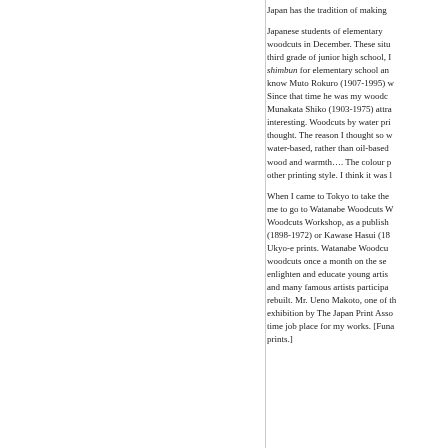Japan has the tradition of making [text continues off page]

Japanese students of elementary woodcuts in December. These situ third grade of junior high school, I shimbun for elementary school an know Muto Rokuro (1907-1995) w Since that time he was my woodc Munakata Shiko (1903-1975) atra interesting. Woodcuts by water pr thought. The reason I thought so w water-based, rather than oil-based wood and warmth…. The colour p other printing style. I think it was l

When I came to Tokyo to take the me to go to Watanabe Woodcuts Woodcuts Workshop, as a publish (1898-1972) or Kawase Hasui (18 Ukyo-e prints. Watanabe Woodcu woodcuts once a month on the se enlighten and educate young artis and many famous artists participa rebuilt. Mr. Ueno Makoto, one of th exhibition by The Japan Print Ass time job place for my works. [Funa prints.]